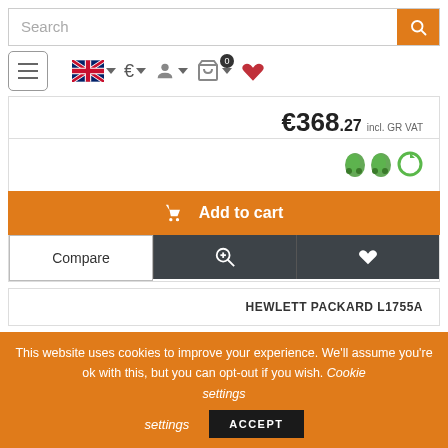[Figure (screenshot): E-commerce website search bar with orange search button]
[Figure (screenshot): Navigation bar with hamburger menu, UK flag, Euro currency, user icon, cart icon with 0 badge, and heart icon]
€368.27 incl. GR VAT
[Figure (illustration): Three green icons representing delivery/service options]
Add to cart
Compare
HEWLETT PACKARD L1755A
This website uses cookies to improve your experience. We'll assume you're ok with this, but you can opt-out if you wish. Cookie settings
ACCEPT